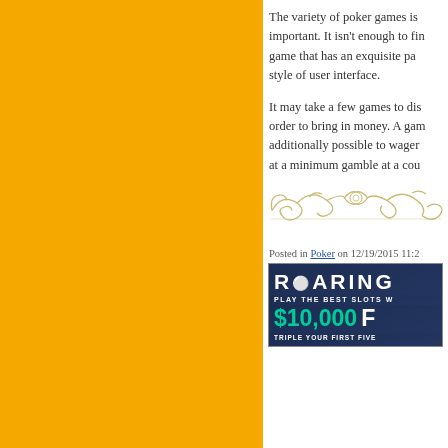[Figure (illustration): Large orange/amber colored background panel on the left two-thirds of the page]
The variety of poker games is important. It isn't enough to find a game that has an exquisite pa... style of user interface.
It may take a few games to dis... order to bring in money. A gam... additionally possible to wager ... at a minimum gamble at a cou...
[Figure (illustration): Decorative ornamental flourish divider in gold/tan color]
Posted in Poker on 12/19/2015 11:2...
[Figure (screenshot): Advertisement banner for Roaring (casino). Text: ROARING, PLAY THE BEST SLOTS W..., $10,000 F..., TRIPLE YOUR FIRST FIVE...]